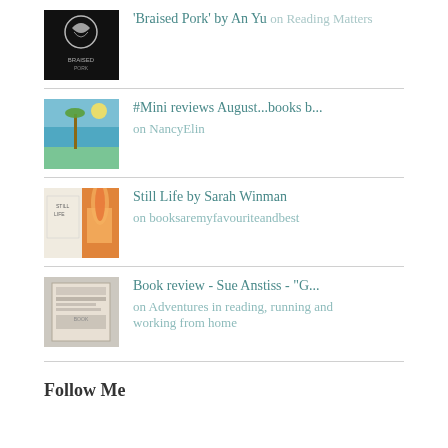'Braised Pork' by An Yu on Reading Matters
#Mini reviews August...books b... on NancyElin
Still Life by Sarah Winman on booksaremyfavouriteandbest
Book review - Sue Anstiss - "G... on Adventures in reading, running and working from home
Follow Me